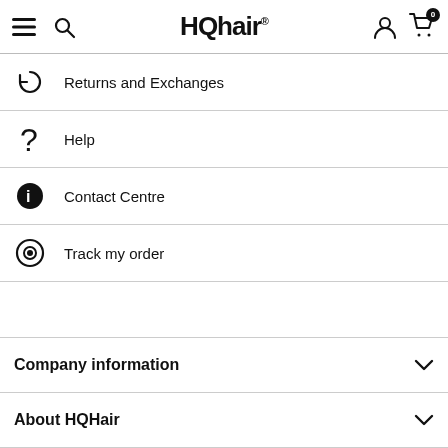HQhair
Returns and Exchanges
Help
Contact Centre
Track my order
Company information
About HQHair